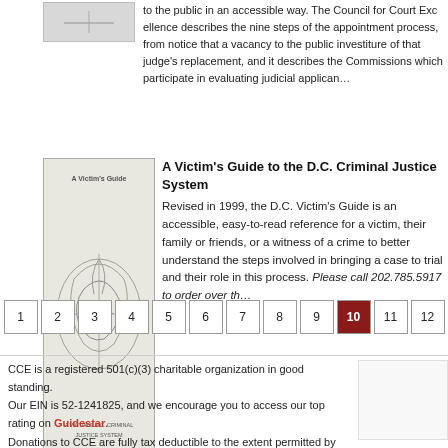to the public in an accessible way. The Council for Court Excellence describes the nine steps of the appointment process, from notice that a seat is vacant to the public investiture of that judge's replacement, and it describes the Advisory Commissions which participate in evaluating judicial applicants.
[Figure (illustration): Small book cover image at top]
A Victim's Guide to the D.C. Criminal Justice System
Revised in 1999, the D.C. Victim's Guide is an accessible, easy-to-read reference for a victim, their family or friends, or a witness of a crime to better understand the steps involved in bringing a case to trial and their role in this process. Please call 202.785.5917 to order over th...
[Figure (illustration): A Victim's Guide book cover — green illustrated cover with figure graphic, subtitle text at bottom]
1 2 3 4 5 6 7 8 9 10 11 12 — pagination, page 10 highlighted
CCE is a registered 501(c)(3) charitable organization in good standing. Our EIN is 52-1241825, and we encourage you to access our top rating on Guidestar. Donations to CCE are fully tax deductible to the extent permitted by law.